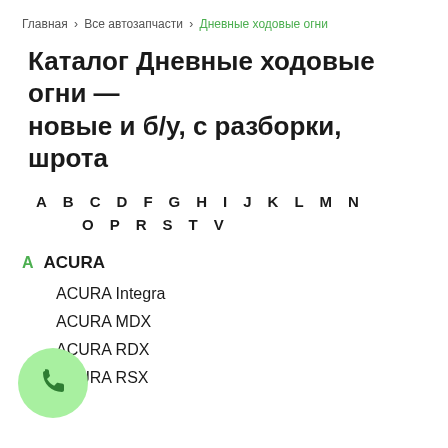Главная > Все автозапчасти > Дневные ходовые огни
Каталог Дневные ходовые огни — новые и б/у, с разборки, шрота
A B C D F G H I J K L M N O P R S T V
A  ACURA
ACURA Integra
ACURA MDX
ACURA RDX
ACURA RSX